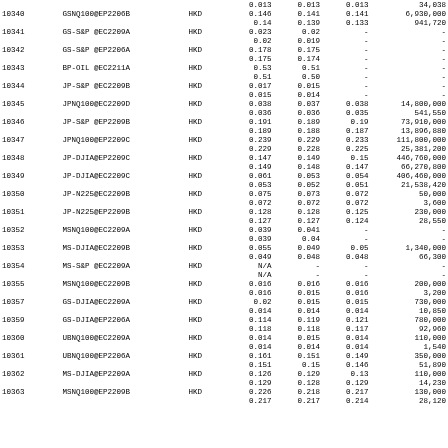| ID | Name | Cur | Col1 | Col2 | Col3 | Col4 |
| --- | --- | --- | --- | --- | --- | --- |
|  |  |  | 0.013 | 0.013 | 0.013 | 34,038 |
| 10340 | GSNQ100@EP2206B | HKD | 0.146 | 0.141 | 0.141 | 6,930,000 |
|  |  |  | 0.14 | 0.139 | 0.133 | 941,720 |
| 10341 | GS-S&P @EC2209A | HKD | 0.023 | 0.02 | - | - |
|  |  |  | 0.02 | 0.019 | - | - |
| 10342 | GS-S&P @EP2206A | HKD | 0.178 | 0.175 | - | - |
|  |  |  | 0.175 | 0.174 | - | - |
| 10343 | BP-OIL @EC2211A | HKD | 0.53 | 0.51 | - | - |
|  |  |  | 0.51 | 0.50 | - | - |
| 10344 | JP-S&P @EC2209B | HKD | 0.017 | 0.015 | - | - |
|  |  |  | 0.015 | 0.014 | - | - |
| 10345 | JPNQ100@EC2209D | HKD | 0.038 | 0.037 | 0.038 | 14,800,000 |
|  |  |  | 0.036 | 0.036 | 0.035 | 541,550 |
| 10346 | JP-S&P @EP2209B | HKD | 0.191 | 0.189 | 0.19 | 73,910,000 |
|  |  |  | 0.189 | 0.188 | 0.187 | 13,896,880 |
| 10347 | JPNQ100@EP2209C | HKD | 0.239 | 0.229 | 0.233 | 111,800,000 |
|  |  |  | 0.229 | 0.228 | 0.225 | 25,381,200 |
| 10348 | JP-DJIA@EP2209C | HKD | 0.147 | 0.149 | 0.15 | 446,760,000 |
|  |  |  | 0.149 | 0.148 | 0.147 | 66,270,800 |
| 10349 | JP-DJIA@EC2209C | HKD | 0.061 | 0.053 | 0.054 | 406,460,000 |
|  |  |  | 0.053 | 0.052 | 0.051 | 21,538,420 |
| 10350 | JP-N225@EC2209B | HKD | 0.075 | 0.073 | 0.072 | 50,000 |
|  |  |  | 0.072 | 0.072 | 0.072 | 3,600 |
| 10351 | JP-N225@EP2209B | HKD | 0.128 | 0.128 | 0.125 | 230,000 |
|  |  |  | 0.127 | 0.127 | 0.124 | 28,550 |
| 10352 | MSNQ100@EC2209A | HKD | 0.039 | 0.041 | - | - |
|  |  |  | 0.039 | 0.04 | - | - |
| 10353 | MS-DJIA@EC2209B | HKD | 0.055 | 0.049 | 0.05 | 1,340,000 |
|  |  |  | 0.049 | 0.048 | 0.048 | 66,300 |
| 10354 | MS-S&P @EC2209A | HKD | N/A | - | - | - |
|  |  |  | N/A | - | - | - |
| 10355 | MSNQ100@EC2209B | HKD | 0.016 | 0.016 | 0.016 | 200,000 |
|  |  |  | 0.016 | 0.015 | 0.016 | 3,200 |
| 10357 | GS-DJIA@EC2209A | HKD | 0.02 | 0.015 | 0.015 | 730,000 |
|  |  |  | 0.014 | 0.014 | 0.014 | 10,850 |
| 10359 | GS-DJIA@EP2206A | HKD | 0.114 | 0.119 | 0.121 | 780,000 |
|  |  |  | 0.118 | 0.118 | 0.117 | 92,960 |
| 10360 | UBNQ100@EC2209A | HKD | 0.014 | 0.015 | 0.014 | 110,000 |
|  |  |  | 0.014 | 0.014 | 0.014 | 1,540 |
| 10361 | UBNQ100@EP2206A | HKD | 0.161 | 0.151 | 0.149 | 350,000 |
|  |  |  | 0.151 | 0.15 | 0.146 | 51,890 |
| 10362 | MS-DJIA@EP2209A | HKD | 0.126 | 0.129 | 0.13 | 110,000 |
|  |  |  | 0.129 | 0.128 | 0.129 | 14,230 |
| 10363 | MSNQ100@EP2209B | HKD | 0.226 | 0.218 | 0.217 | 130,000 |
|  |  |  | 0.217 | 0.217 | 0.214 | 28,120 |